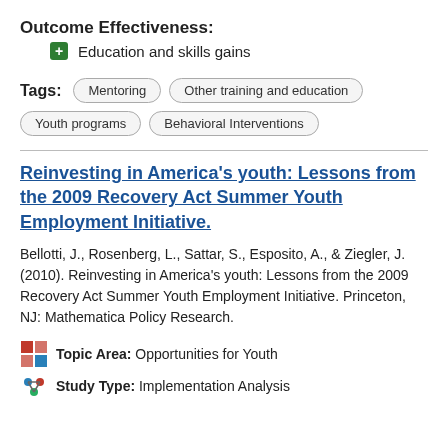Outcome Effectiveness:
Education and skills gains
Tags: Mentoring | Other training and education | Youth programs | Behavioral Interventions
Reinvesting in America's youth: Lessons from the 2009 Recovery Act Summer Youth Employment Initiative.
Bellotti, J., Rosenberg, L., Sattar, S., Esposito, A., & Ziegler, J. (2010). Reinvesting in America's youth: Lessons from the 2009 Recovery Act Summer Youth Employment Initiative. Princeton, NJ: Mathematica Policy Research.
Topic Area: Opportunities for Youth
Study Type: Implementation Analysis